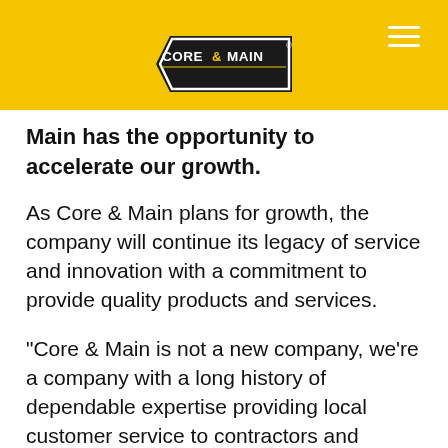[Figure (logo): Core & Main logo — black rhombus/diamond shape with yellow border, white text reading CORE & MAIN with ampersand, registered trademark symbol]
Main has the opportunity to accelerate our growth.
As Core & Main plans for growth, the company will continue its legacy of service and innovation with a commitment to provide quality products and services.
“Core & Main is not a new company, we’re a company with a long history of dependable expertise providing local customer service to contractors and communities across the nation,” said LeClair. “We supply the core